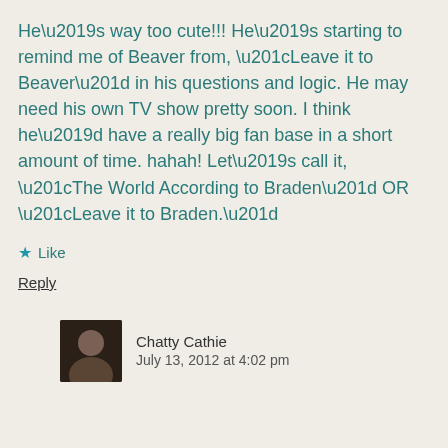He’s way too cute!!! He’s starting to remind me of Beaver from, “Leave it to Beaver” in his questions and logic. He may need his own TV show pretty soon. I think he’d have a really big fan base in a short amount of time. hahah! Let’s call it, “The World According to Braden” OR “Leave it to Braden.”
★ Like
Reply
Chatty Cathie
July 13, 2012 at 4:02 pm